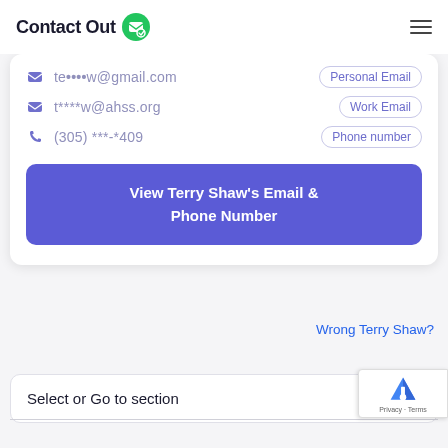Contact Out
te****w@gmail.com  Personal Email
t****w@ahss.org  Work Email
(305) ***-*409  Phone number
View Terry Shaw's Email & Phone Number
Wrong Terry Shaw?
Select or Go to section